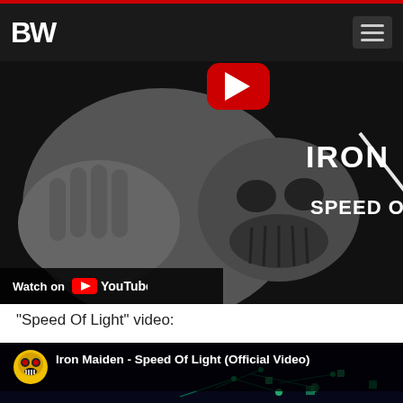BW [logo] with hamburger menu
[Figure (screenshot): Iron Maiden Speed of Light YouTube video thumbnail showing a grey clay/3D rendered skeleton-like figure with hands, YouTube play button overlay, Iron Maiden logo text partially visible on right, text 'SPEED OF' partially visible. 'Watch on YouTube' overlay at bottom left.]
“Speed Of Light” video:
[Figure (screenshot): Iron Maiden - Speed Of Light (Official Video) YouTube embed showing dark blue background with glowing green particle/network visualization. Header bar shows Eddie (Iron Maiden mascot) yellow circular icon and video title text.]